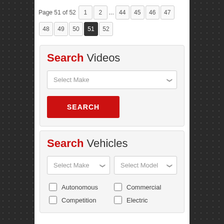Page 51 of 52  1 2 ... 44 45 46 47 48 49 50 51 52
Search Videos
Select Make
SEARCH
Search Vehicles
Select Make   Select Model
Autonomous
Commercial
Competition
Electric